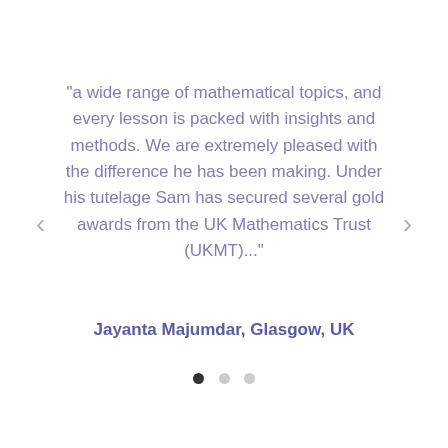"a wide range of mathematical topics, and every lesson is packed with insights and methods. We are extremely pleased with the difference he has been making. Under his tutelage Sam has secured several gold awards from the UK Mathematics Trust (UKMT)..."
Jayanta Majumdar, Glasgow, UK